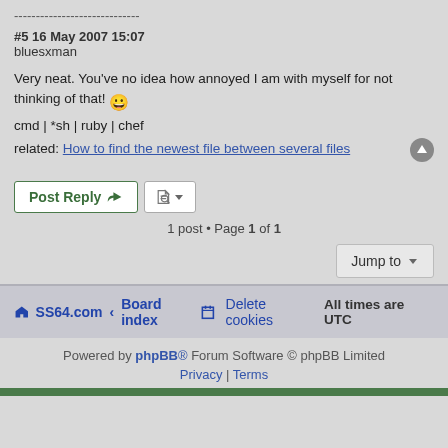-----------------------------
#5 16 May 2007 15:07
bluesxman
Very neat. You've no idea how annoyed I am with myself for not thinking of that! 😀
cmd | *sh | ruby | chef
related: How to find the newest file between several files
Post Reply
1 post • Page 1 of 1
Jump to
SS64.com  Board index    Delete cookies   All times are UTC
Powered by phpBB® Forum Software © phpBB Limited
Privacy | Terms